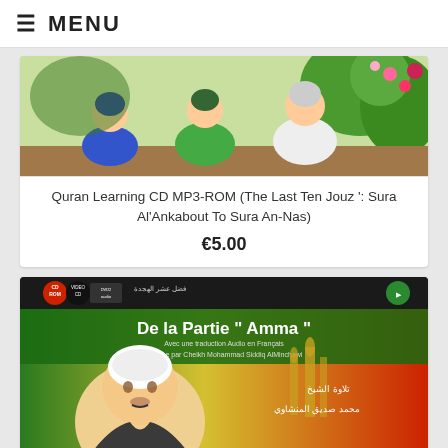☰ MENU
[Figure (illustration): Animated illustration showing cartoon-style figures of people sitting together in a garden-like setting, one in blue, one in green, and one in white clothing, with colorful flowers in the background]
Quran Learning CD MP3-ROM (The Last Ten Jouz ': Sura Al'Ankabout To Sura An-Nas)
€5.00
[Figure (photo): CD cover for 'De la Partie Amma' - green, red and yellow background with a portrait of Sheikh Mohammad Siddiq Al Minchawi wearing a white turban, with Arabic text and mosque silhouettes. The cover shows CD-ROM, VIDEO CD, DVD2 audio icons at the top.]